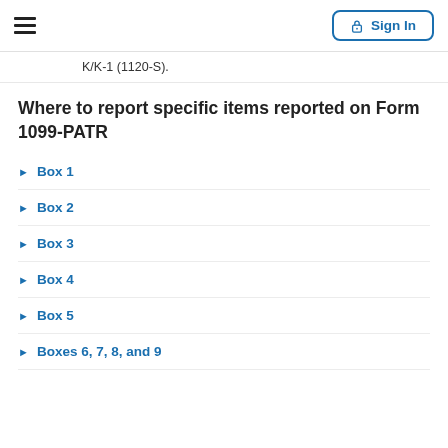Sign In
K/K-1 (1120-S).
Where to report specific items reported on Form 1099-PATR
Box 1
Box 2
Box 3
Box 4
Box 5
Boxes 6, 7, 8, and 9